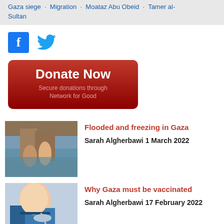Gaza siege · Migration · Moataz Abu Obeid · Tamer al-Sultan
[Figure (logo): Facebook icon (blue square with white f) and Twitter bird icon (blue)]
[Figure (infographic): Donate Now button - red rounded rectangle with white text 'Donate Now' and smaller text 'Secure donations through Network for Good']
[Figure (photo): Two people wading through flooded street in Gaza]
Flooded and freezing in Gaza
Sarah Algherbawi 1 March 2022
[Figure (photo): Person in blue medical scrubs and mask holding a syringe, preparing a vaccine]
Why Gaza must be vaccinated
Sarah Algherbawi 17 February 2022